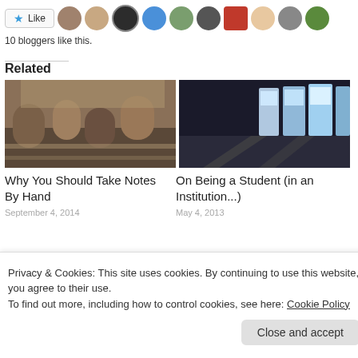[Figure (other): Like button with star icon and 10 blogger avatar thumbnails]
10 bloggers like this.
Related
[Figure (photo): Students sitting in a lecture hall]
[Figure (photo): Vending machines on a street at night]
Why You Should Take Notes On Being a Student (in an
By Hand Institution...)
September 4, 2014   May 4, 2013
Privacy & Cookies: This site uses cookies. By continuing to use this website, you agree to their use.
To find out more, including how to control cookies, see here: Cookie Policy